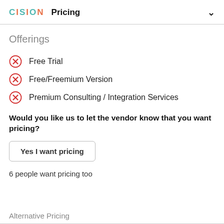CISION  Pricing
Offerings
Free Trial
Free/Freemium Version
Premium Consulting / Integration Services
Would you like us to let the vendor know that you want pricing?
Yes I want pricing
6 people want pricing too
Alternative Pricing